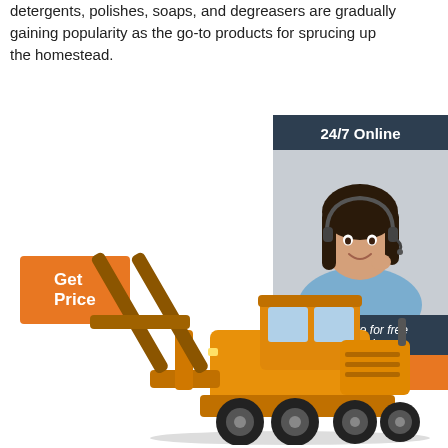detergents, polishes, soaps, and degreasers are gradually gaining popularity as the go-to products for sprucing up the homestead.
Get Price
[Figure (illustration): 24/7 Online support widget with a smiling woman wearing a headset, dark blue background header reading '24/7 Online', italics text 'Click here for free chat!', and an orange QUOTATION button]
[Figure (photo): Large yellow forklift loader construction machine with two large forks raised, photographed on white background]